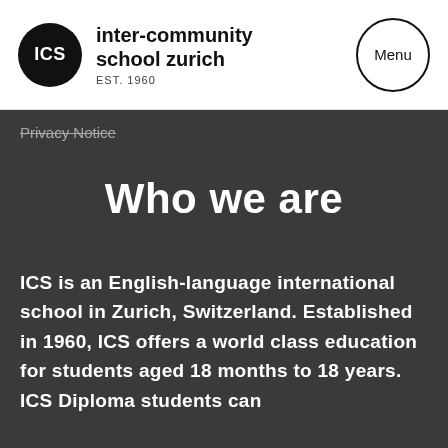inter-community school zurich EST. 1960
Privacy Notice
Who we are
ICS is an English-language international school in Zurich, Switzerland. Established in 1960, ICS offers a world class education for students aged 18 months to 18 years. ICS Diploma students can